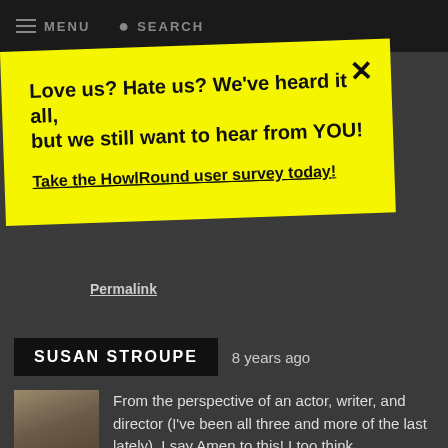MENU   SEARCH
Love us? Hate us? We've heard it all, but we still want to hear from YOU!

Take the HowlRound user survey today!
Permalink
SUSAN STROUPE   8 years ago
From the perspective of an actor, writer, and director (I've been all three and more of the last lately), I say Amen to this! I too think